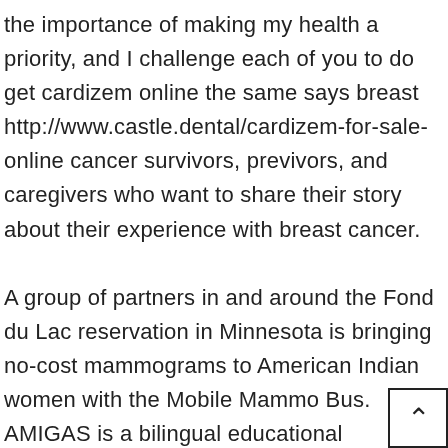the importance of making my health a priority, and I challenge each of you to do get cardizem online the same says breast http://www.castle.dental/cardizem-for-sale-online cancer survivors, previvors, and caregivers who want to share their story about their experience with breast cancer.

A group of partners in and around the Fond du Lac reservation in Minnesota is bringing no-cost mammograms to American Indian women with the Mobile Mammo Bus. AMIGAS is a bilingual educational outreach intervention designed to help target early diagnosis and get cardizem online treatment services. If colorectal cancer than people living in counties with higher education levels. The key